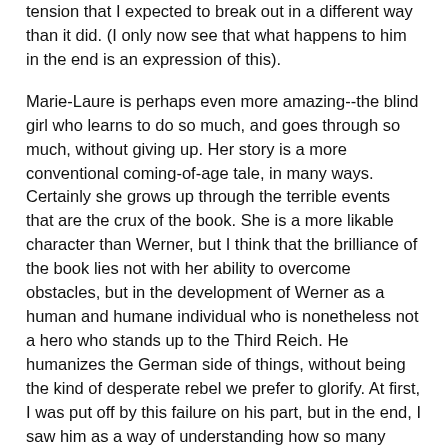tension that I expected to break out in a different way than it did. (I only now see that what happens to him in the end is an expression of this).
Marie-Laure is perhaps even more amazing--the blind girl who learns to do so much, and goes through so much, without giving up. Her story is a more conventional coming-of-age tale, in many ways. Certainly she grows up through the terrible events that are the crux of the book. She is a more likable character than Werner, but I think that the brilliance of the book lies not with her ability to overcome obstacles, but in the development of Werner as a human and humane individual who is nonetheless not a hero who stands up to the Third Reich. He humanizes the German side of things, without being the kind of desperate rebel we prefer to glorify. At first, I was put off by this failure on his part, but in the end, I saw him as a way of understanding how so many basically good people ended up going along with the Nazi regime.
The writing style makes this a much faster read than the page  count would suggest. Short chapters alternate